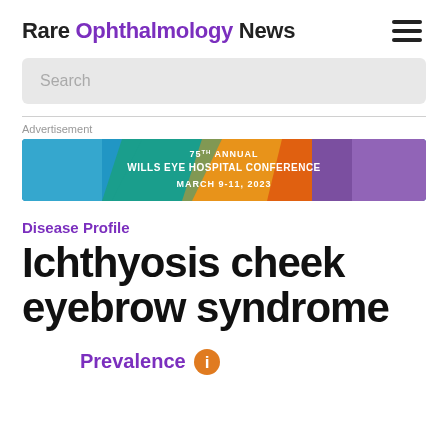Rare Ophthalmology News
Search
Advertisement
[Figure (screenshot): 75th Annual Wills Eye Hospital Conference banner ad, March 9-11, 2023, with colorful abstract background]
Disease Profile
Ichthyosis cheek eyebrow syndrome
Prevalence